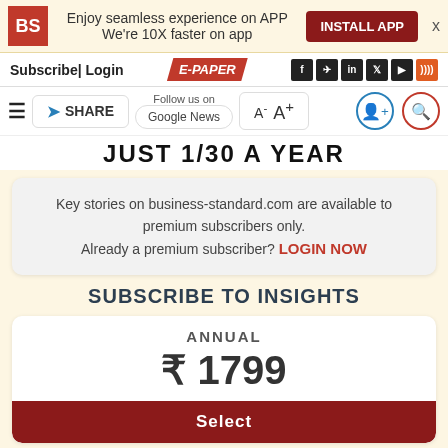Enjoy seamless experience on APP We're 10X faster on app | INSTALL APP
Subscribe | Login | E-PAPER
SHARE | Follow us on Google News | A- A+
JUST 1/30 A YEAR
Key stories on business-standard.com are available to premium subscribers only. Already a premium subscriber? LOGIN NOW
SUBSCRIBE TO INSIGHTS
ANNUAL
₹ 1799
Select